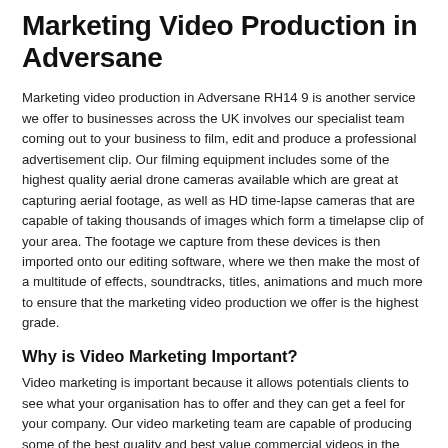Marketing Video Production in Adversane
Marketing video production in Adversane RH14 9 is another service we offer to businesses across the UK involves our specialist team coming out to your business to film, edit and produce a professional advertisement clip. Our filming equipment includes some of the highest quality aerial drone cameras available which are great at capturing aerial footage, as well as HD time-lapse cameras that are capable of taking thousands of images which form a timelapse clip of your area. The footage we capture from these devices is then imported onto our editing software, where we then make the most of a multitude of effects, soundtracks, titles, animations and much more to ensure that the marketing video production we offer is the highest grade.
Why is Video Marketing Important?
Video marketing is important because it allows potentials clients to see what your organisation has to offer and they can get a feel for your company. Our video marketing team are capable of producing some of the best quality and best value commercial videos in the